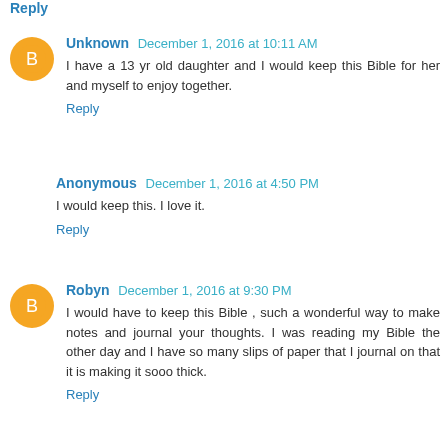Reply
Unknown  December 1, 2016 at 10:11 AM
I have a 13 yr old daughter and I would keep this Bible for her and myself to enjoy together.
Reply
Anonymous  December 1, 2016 at 4:50 PM
I would keep this. I love it.
Reply
Robyn  December 1, 2016 at 9:30 PM
I would have to keep this Bible , such a wonderful way to make notes and journal your thoughts. I was reading my Bible the other day and I have so many slips of paper that I journal on that it is making it sooo thick.
Reply